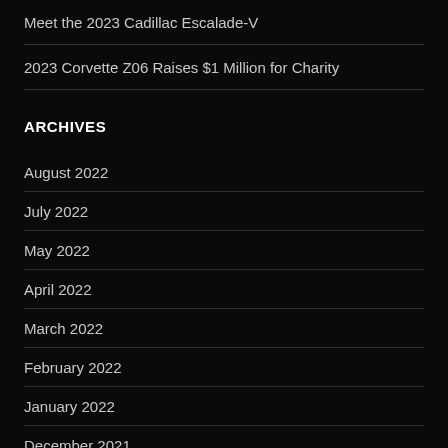Meet the 2023 Cadillac Escalade-V
2023 Corvette Z06 Raises $1 Million for Charity
ARCHIVES
August 2022
July 2022
May 2022
April 2022
March 2022
February 2022
January 2022
December 2021